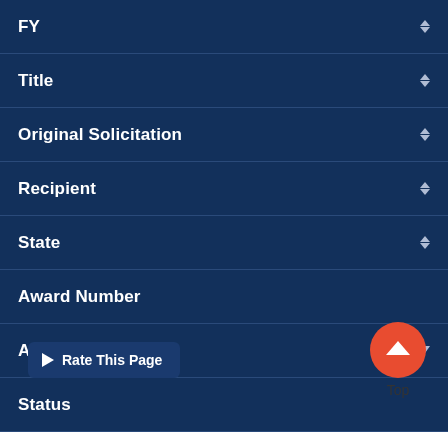| Column | Sort |
| --- | --- |
| FY | sortable |
| Title | sortable |
| Original Solicitation | sortable |
| Recipient | sortable |
| State | sortable |
| Award Number |  |
| Amount | dropdown |
| Status |  |
| Office |  |
| PI |  |
| 2005-JE-EX-0007 |  |